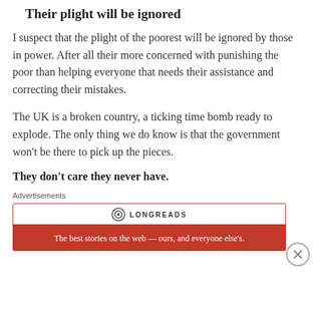Their plight will be ignored
I suspect that the plight of the poorest will be ignored by those in power. After all their more concerned with punishing the poor than helping everyone that needs their assistance and correcting their mistakes.
The UK is a broken country, a ticking time bomb ready to explode. The only thing we do know is that the government won't be there to pick up the pieces.
They don't care they never have.
Advertisements
[Figure (other): Longreads advertisement banner: 'The best stories on the web — ours, and everyone else's.']